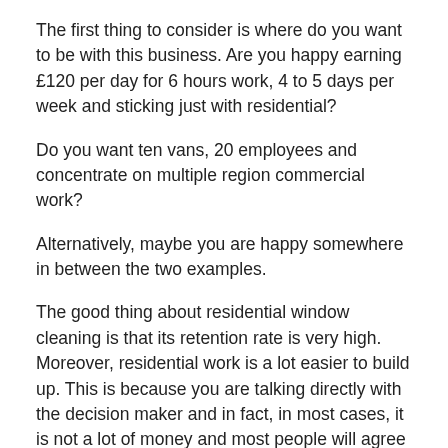The first thing to consider is where do you want to be with this business. Are you happy earning £120 per day for 6 hours work, 4 to 5 days per week and sticking just with residential?
Do you want ten vans, 20 employees and concentrate on multiple region commercial work?
Alternatively, maybe you are happy somewhere in between the two examples.
The good thing about residential window cleaning is that its retention rate is very high. Moreover, residential work is a lot easier to build up. This is because you are talking directly with the decision maker and in fact, in most cases, it is not a lot of money and most people will agree to a fair price.